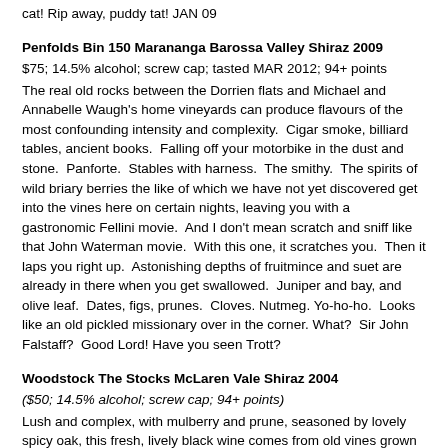cat! Rip away, puddy tat! JAN 09
Penfolds Bin 150 Marananga Barossa Valley Shiraz 2009
$75; 14.5% alcohol; screw cap; tasted MAR 2012; 94+ points
The real old rocks between the Dorrien flats and Michael and Annabelle Waugh's home vineyards can produce flavours of the most confounding intensity and complexity.  Cigar smoke, billiard tables, ancient books.  Falling off your motorbike in the dust and stone.  Panforte.  Stables with harness.  The smithy.  The spirits of wild briary berries the like of which we have not yet discovered get into the vines here on certain nights, leaving you with a gastronomic Fellini movie.  And I don't mean scratch and sniff like that John Waterman movie.  With this one, it scratches you.  Then it laps you right up.  Astonishing depths of fruitmince and suet are already in there when you get swallowed.  Juniper and bay, and olive leaf.  Dates, figs, prunes.  Cloves. Nutmeg. Yo-ho-ho.  Looks like an old pickled missionary over in the corner. What?  Sir John Falstaff?  Good Lord! Have you seen Trott?
Woodstock The Stocks McLaren Vale Shiraz 2004
($50; 14.5% alcohol; screw cap; 94+ points)
Lush and complex, with mulberry and prune, seasoned by lovely spicy oak, this fresh, lively black wine comes from old vines grown in the